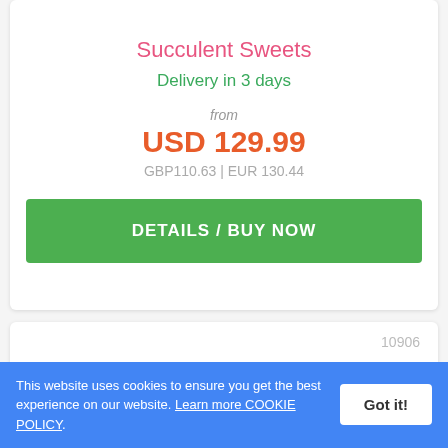Succulent Sweets
Delivery in 3 days
from
USD 129.99
GBP110.63 | EUR 130.44
DETAILS / BUY NOW
10906
[Figure (photo): Partial view of a floral/plant arrangement with green leaves and a red element, shown at the bottom of a product card]
This website uses cookies to ensure you get the best experience on our website. Learn more COOKIE POLICY.
Got it!